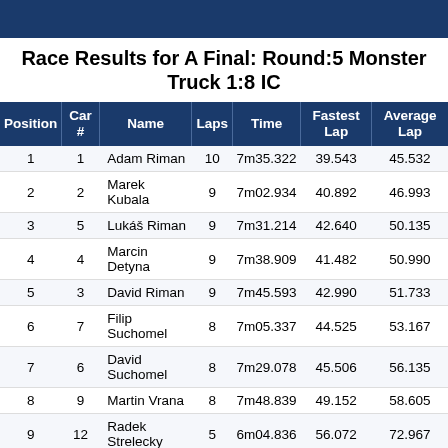Race Results for A Final: Round:5 Monster Truck 1:8 IC
| Position | Car # | Name | Laps | Time | Fastest Lap | Average Lap |
| --- | --- | --- | --- | --- | --- | --- |
| 1 | 1 | Adam Riman | 10 | 7m35.322 | 39.543 | 45.532 |
| 2 | 2 | Marek Kubala | 9 | 7m02.934 | 40.892 | 46.993 |
| 3 | 5 | Lukáš Riman | 9 | 7m31.214 | 42.640 | 50.135 |
| 4 | 4 | Marcin Detyna | 9 | 7m38.909 | 41.482 | 50.990 |
| 5 | 3 | David Riman | 9 | 7m45.593 | 42.990 | 51.733 |
| 6 | 7 | Filip Suchomel | 8 | 7m05.337 | 44.525 | 53.167 |
| 7 | 6 | David Suchomel | 8 | 7m29.078 | 45.506 | 56.135 |
| 8 | 9 | Martin Vrana | 8 | 7m48.839 | 49.152 | 58.605 |
| 9 | 12 | Radek Strelecky | 5 | 6m04.836 | 56.072 | 72.967 |